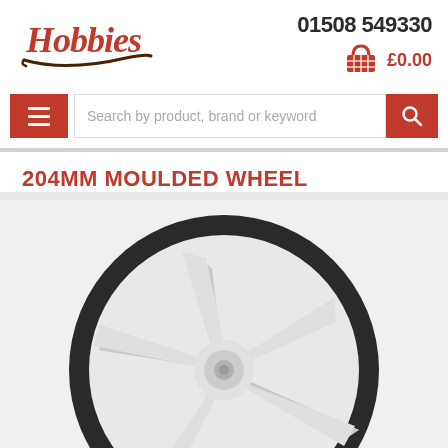[Figure (logo): Hobbies logo in red/orange script lettering with a decorative underline swash]
01508 549330
[Figure (illustration): Red shopping basket icon]
£0.00
[Figure (illustration): Hamburger menu icon (three white lines on red background)]
Search by product, brand or keyword
[Figure (illustration): Search magnifying glass icon on red background]
204MM MOULDED WHEEL
[Figure (photo): Close-up photo of a white moulded plastic wheel with a black rubber tire, showing a 5-spoke design, cropped at the bottom]